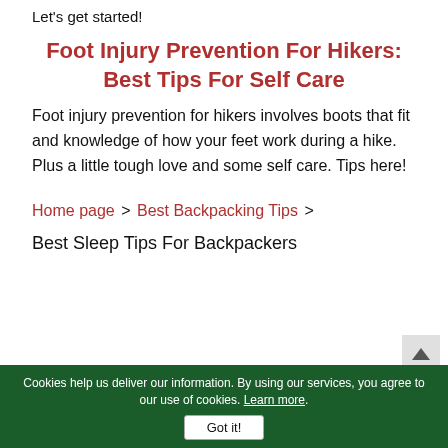Let's get started!
Foot Injury Prevention For Hikers: Best Tips For Self Care
Foot injury prevention for hikers involves boots that fit and knowledge of how your feet work during a hike. Plus a little tough love and some self care. Tips here!
Home page > Best Backpacking Tips >
Best Sleep Tips For Backpackers
Cookies help us deliver our information. By using our services, you agree to our use of cookies. Learn more. Got it!